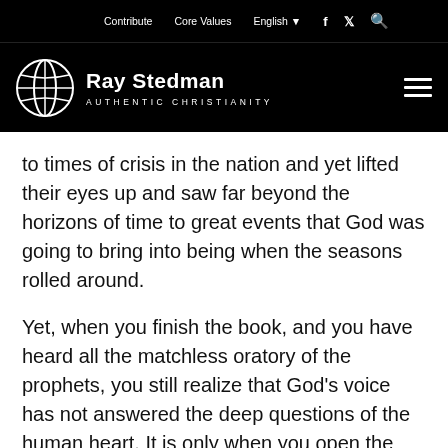Contribute   Core Values   English   [facebook] [twitter] [search]
Ray Stedman — AUTHENTIC CHRISTIANITY
to times of crisis in the nation and yet lifted their eyes up and saw far beyond the horizons of time to great events that God was going to bring into being when the seasons rolled around.
Yet, when you finish the book, and you have heard all the matchless oratory of the prophets, you still realize that God's voice has not answered the deep questions of the human heart. It is only when you open the Gospels and begin to read of Jesus, who he was, what he did, where he went, what he said, how he acted, how he lived and the way he handled situations, that all the utterance of the prophets begins to merge into